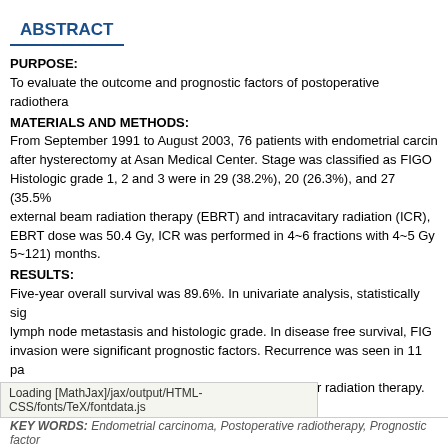ABSTRACT
PURPOSE:
To evaluate the outcome and prognostic factors of postoperative radiotherapy
MATERIALS AND METHODS:
From September 1991 to August 2003, 76 patients with endometrial carcinoma after hysterectomy at Asan Medical Center. Stage was classified as FIGO Histologic grade 1, 2 and 3 were in 29 (38.2%), 20 (26.3%), and 27 (35.5% external beam radiation therapy (EBRT) and intracavitary radiation (ICR), EBRT dose was 50.4 Gy, ICR was performed in 4~6 fractions with 4~5 Gy 5~121) months.
RESULTS:
Five-year overall survival was 89.6%. In univariate analysis, statistically significant lymph node metastasis and histologic grade. In disease free survival, FIGO invasion were significant prognostic factors. Recurrence was seen in 11 patients. There were no moderate to severe complications after radiation therapy.
CONCLUSION:
The outcome of postoperative adjuvant radiotherapy in endometrial carcinoma postoperative radiotherapy was distant metastasis. So, adjuvant chemotherapy on chemotherapy in combined with postoperative radiotherapy will be needed as high FIGO stage, lymphovascular invasion, and high histologic grade.
Loading [MathJax]/jax/output/HTML-CSS/fonts/TeX/fontdata.js
KEY WORDS: Endometrial carcinoma, Postoperative radiotherapy, Prognostic factor